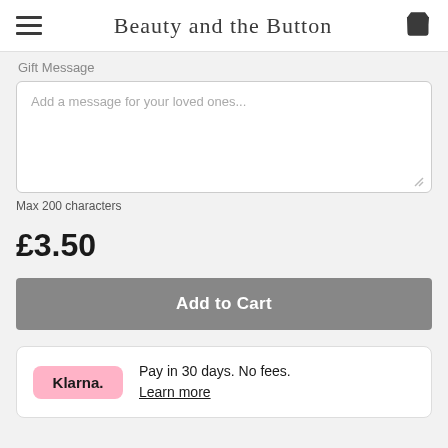Beauty and the Button
Gift Message
Add a message for your loved ones...
Max 200 characters
£3.50
Add to Cart
Klarna. Pay in 30 days. No fees. Learn more